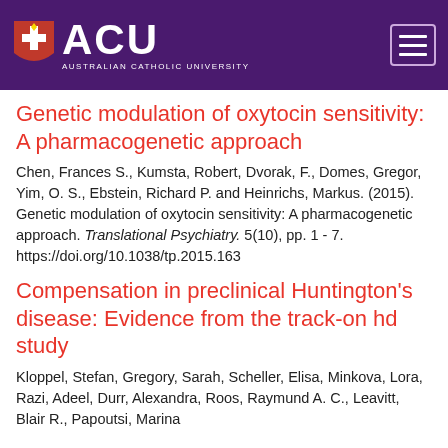[Figure (logo): Australian Catholic University (ACU) logo with shield emblem on purple header background, with hamburger menu icon on the right]
Genetic modulation of oxytocin sensitivity: A pharmacogenetic approach
Chen, Frances S., Kumsta, Robert, Dvorak, F., Domes, Gregor, Yim, O. S., Ebstein, Richard P. and Heinrichs, Markus. (2015). Genetic modulation of oxytocin sensitivity: A pharmacogenetic approach. Translational Psychiatry. 5(10), pp. 1 - 7. https://doi.org/10.1038/tp.2015.163
Compensation in preclinical Huntington's disease: Evidence from the track-on hd study
Kloppel, Stefan, Gregory, Sarah, Scheller, Elisa, Minkova, Lora, Razi, Adeel, Durr, Alexandra, Roos, Raymund A. C., Leavitt, Blair R., Papoutsi, Marina